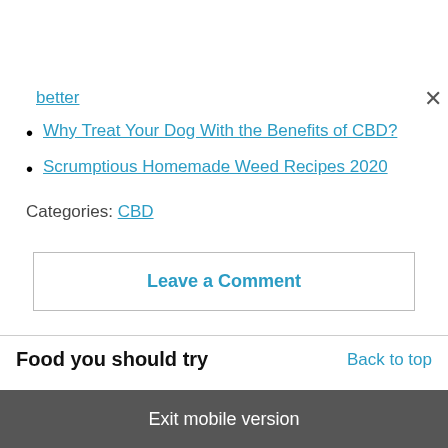better
Why Treat Your Dog With the Benefits of CBD?
Scrumptious Homemade Weed Recipes 2020
Categories: CBD
Leave a Comment
Food you should try
Back to top
Exit mobile version